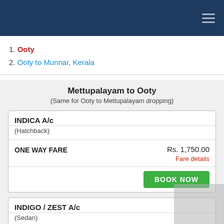Header navigation bar
1. Ooty
2. Ooty to Munnar, Kerala
Mettupalayam to Ooty
(Same for Ooty to Mettupalayam dropping)
| Car | Fare |
| --- | --- |
| INDICA A/c (Hatchback) |  |
| ONE WAY FARE | Rs. 1,750.00 |
|  | Fare details |
|  | BOOK NOW |
| Car | Fare |
| --- | --- |
| INDIGO / ZEST A/c (Sedan) |  |
| ONE WAY FARE | Rs. 1,850.00 |
|  | Fare details |
|  | BOOK NOW |